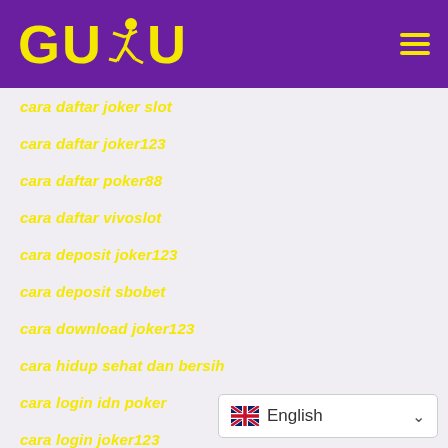[Figure (logo): GUBU logo with yellow text and running figure silhouette on purple background, with hamburger menu icon]
cara daftar joker slot
cara daftar joker123
cara daftar poker88
cara daftar vivoslot
cara deposit joker123
cara deposit sbobet
cara download joker123
cara hidup sehat dan bersih
cara login idn poker
cara login joker123
cara login vivoslot
Card Games
English